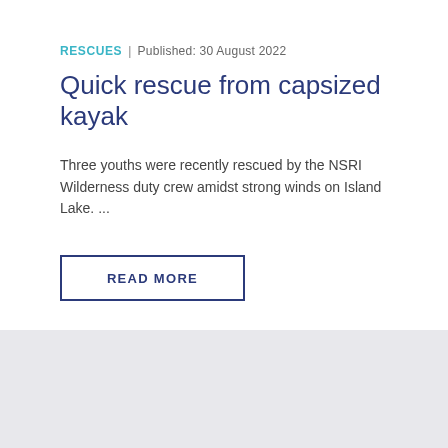RESCUES | Published: 30 August 2022
Quick rescue from capsized kayak
Three youths were recently rescued by the NSRI Wilderness duty crew amidst strong winds on Island Lake. ...
READ MORE
SUBSCRIBE TO OUR NEWSLETTER
Subscribe today for information about NSRI rescues